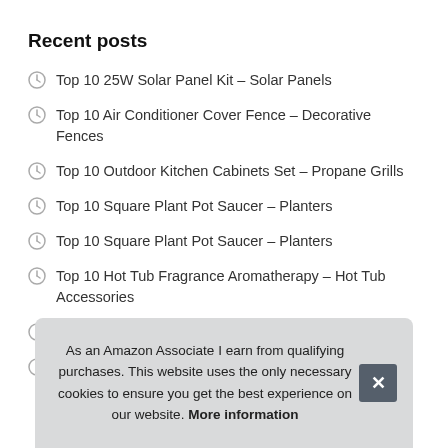Recent posts
Top 10 25W Solar Panel Kit – Solar Panels
Top 10 Air Conditioner Cover Fence – Decorative Fences
Top 10 Outdoor Kitchen Cabinets Set – Propane Grills
Top 10 Square Plant Pot Saucer – Planters
Top 10 Square Plant Pot Saucer – Planters
Top 10 Hot Tub Fragrance Aromatherapy – Hot Tub Accessories
T
T
As an Amazon Associate I earn from qualifying purchases. This website uses the only necessary cookies to ensure you get the best experience on our website. More information